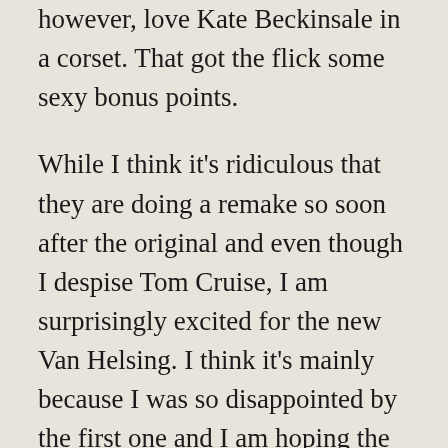however, love Kate Beckinsale in a corset. That got the flick some sexy bonus points.
While I think it's ridiculous that they are doing a remake so soon after the original and even though I despise Tom Cruise, I am surprisingly excited for the new Van Helsing. I think it's mainly because I was so disappointed by the first one and I am hoping the second doesn't fail so hard.
What do you think of them doing a Van Helsing remake staring Tom Cruise? Do you hope the werewolves in the remake are as awesome as the original?